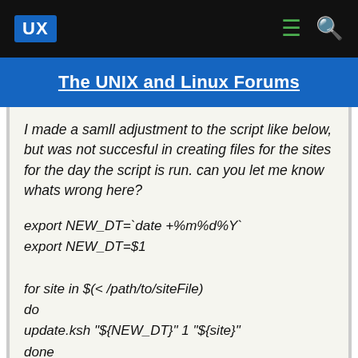UX
The UNIX and Linux Forums
I made a samll adjustment to the script like below, but was not succesful in creating files for the sites for the day the script is run. can you let me know whats wrong here?
export NEW_DT=`date +%m%d%Y`
export NEW_DT=$1

for site in $(< /path/to/siteFile)
do
update.ksh "${NEW_DT}" 1 "${site}"
done